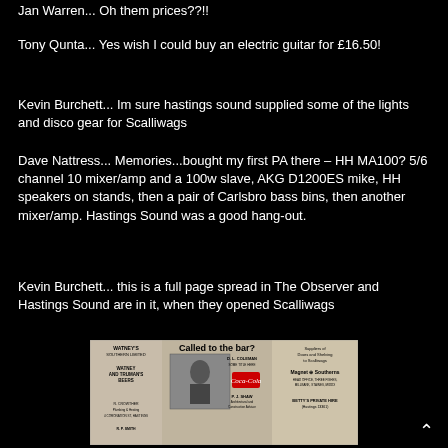Jan Warren... Oh them prices??!!
Tony Qunta... Yes wish I could buy an electric guitar for £16.50!
Kevin Burchett... Im sure hastings sound supplied some of the lights and disco gear for Scalliwags
Dave Nattress... Memories...bought my first PA there – HH MA100? 5/6 channel 10 mixer/amp and a 100w slave, AKG D1200ES mike, HH speakers on stands, then a pair of Carlsbro bass bins, then another mixer/amp. Hastings Sound was a good hang-out.
Kevin Burchett... this is a full page spread in The Observer and Hastings Sound are in it, when they opened Scalliwags
[Figure (photo): Old newspaper clipping showing 'Called to the bar?' headline with Coca-Cola advertisement, D.L. Coleman, Magnet Southerns, P.J. Shaw, R. Crowther, R.P. Smith listings, Watney's Southern Limited and Watney and Truman's Beers advertisements]